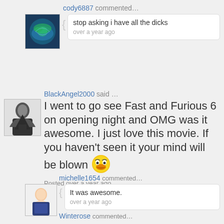cody6887 commented…
stop asking i have all the dicks
over a year ago
BlackAngel2000 said …
I went to go see Fast and Furious 6 on opening night and OMG was it awesome. I just love this movie. If you haven't seen it your mind will be blown
Posted over a year ago
michelle1654 commented…
It was awesome.
over a year ago
Winterose commented…
somebody is going to be in fast and furious 7 but i am not going to say who for the ones haven't seen the movie everybody else who has seen the movie you know i am talking about, Vin Diesel has never failed me he always brings it